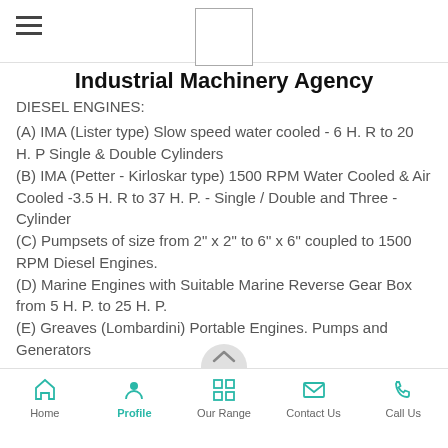[Figure (logo): Hamburger menu icon (three horizontal lines) at top left]
[Figure (logo): Company logo placeholder box at top center]
Industrial Machinery Agency
DIESEL ENGINES:
(A) IMA (Lister type) Slow speed water cooled - 6 H. R to 20 H. P Single & Double Cylinders
(B) IMA (Petter - Kirloskar type) 1500 RPM Water Cooled & Air Cooled -3.5 H. R to 37 H. P. - Single / Double and Three - Cylinder
(C) Pumpsets of size from 2" x 2" to 6" x 6" coupled to 1500 RPM Diesel Engines.
(D) Marine Engines with Suitable Marine Reverse Gear Box from 5 H. P. to 25 H. P.
(E) Greaves (Lombardini) Portable Engines. Pumps and Generators
Home  Profile  Our Range  Contact Us  Call Us